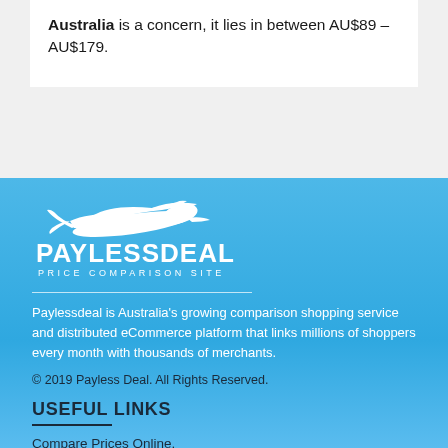Australia is a concern, it lies in between AU$89 – AU$179.
[Figure (logo): Paylessdeal logo: white kangaroo/bird silhouette above text PAYLESSDEAL in large white bold letters, with 'PRICE COMPARISON SITE' in smaller spaced white letters below, on a blue background.]
Paylessdeal is Australia's growing comparison shopping service and distributed eCommerce platform that links millions of shoppers every month with thousands of merchants.
© 2019 Payless Deal. All Rights Reserved.
USEFUL LINKS
Compare Prices Online.